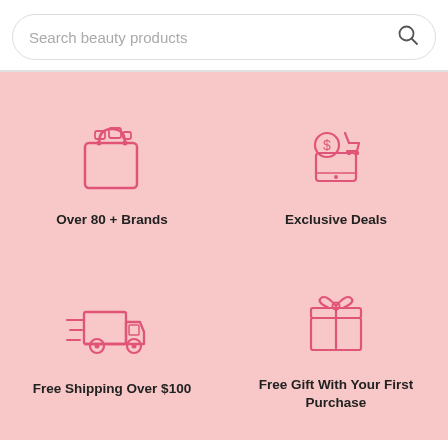Search beauty products
[Figure (illustration): Shopping bag icon with items inside, pink outline style]
Over 80 + Brands
[Figure (illustration): Mobile phone with shopping cart and dollar coin icon, pink outline style]
Exclusive Deals
[Figure (illustration): Delivery truck with speed lines, pink outline style]
Free Shipping Over $100
[Figure (illustration): Gift box with bow, pink outline style]
Free Gift With Your First Purchase